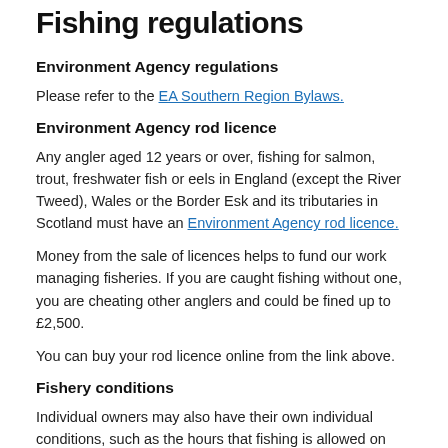Fishing regulations
Environment Agency regulations
Please refer to the EA Southern Region Bylaws.
Environment Agency rod licence
Any angler aged 12 years or over, fishing for salmon, trout, freshwater fish or eels in England (except the River Tweed), Wales or the Border Esk and its tributaries in Scotland must have an Environment Agency rod licence.
Money from the sale of licences helps to fund our work managing fisheries. If you are caught fishing without one, you are cheating other anglers and could be fined up to £2,500.
You can buy your rod licence online from the link above.
Fishery conditions
Individual owners may also have their own individual conditions, such as the hours that fishing is allowed on that beat, provision of ghillies (if any) and what fishing methods